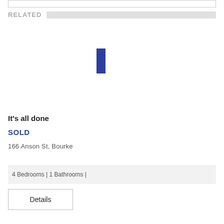RELATED
[Figure (other): Small dark blue vertical rectangle, likely a thumbnail placeholder or UI element]
It's all done
SOLD
166 Anson St, Bourke
4 Bedrooms | 1 Bathrooms |
Details